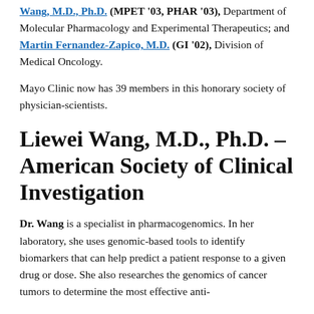Wang, M.D., Ph.D. (MPET '03, PHAR '03), Department of Molecular Pharmacology and Experimental Therapeutics; and Martin Fernandez-Zapico, M.D. (GI '02), Division of Medical Oncology.
Mayo Clinic now has 39 members in this honorary society of physician-scientists.
Liewei Wang, M.D., Ph.D. – American Society of Clinical Investigation
Dr. Wang is a specialist in pharmacogenomics. In her laboratory, she uses genomic-based tools to identify biomarkers that can help predict a patient response to a given drug or dose. She also researches the genomics of cancer tumors to determine the most effective anti-